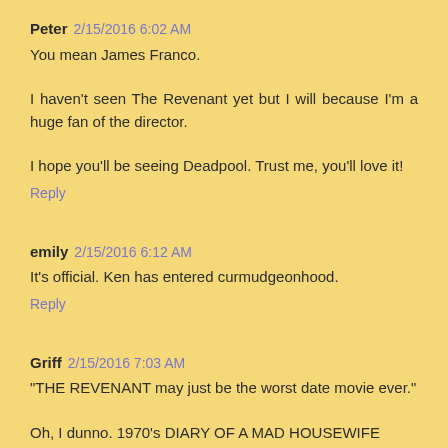Peter 2/15/2016 6:02 AM
You mean James Franco.
I haven't seen The Revenant yet but I will because I'm a huge fan of the director.
I hope you'll be seeing Deadpool. Trust me, you'll love it!
Reply
emily 2/15/2016 6:12 AM
It's official. Ken has entered curmudgeonhood.
Reply
Griff 2/15/2016 7:03 AM
"THE REVENANT may just be the worst date movie ever."
Oh, I dunno. 1970's DIARY OF A MAD HOUSEWIFE